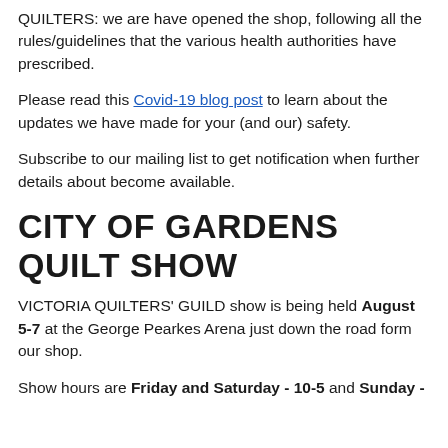QUILTERS: we are have opened the shop, following all the rules/guidelines that the various health authorities have prescribed.
Please read this Covid-19 blog post to learn about the updates we have made for your (and our) safety.
Subscribe to our mailing list to get notification when further details about become available.
CITY OF GARDENS QUILT SHOW
VICTORIA QUILTERS' GUILD show is being held August 5-7 at the George Pearkes Arena just down the road form our shop.
Show hours are Friday and Saturday - 10-5 and Sunday -